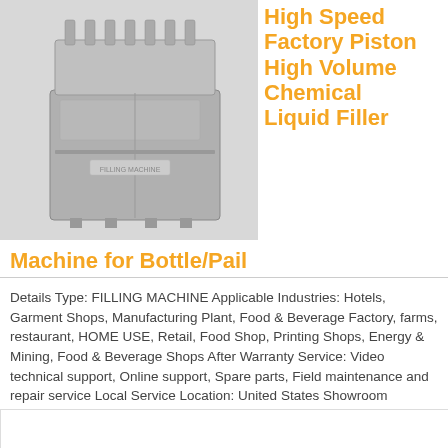[Figure (photo): Industrial filling machine - high speed factory piston, stainless steel cabinet with filling heads visible at top]
High Speed Factory Piston High Volume Chemical Liquid Filler Machine for Bottle/Pail
Details Type: FILLING MACHINE Applicable Industries: Hotels, Garment Shops, Manufacturing Plant, Food & Beverage Factory, farms, restaurant, HOME USE, Retail, Food Shop, Printing Shops, Energy & Mining, Food & Beverage Shops After Warranty Service: Video technical support, Online support, Spare parts, Field maintenance and repair service Local Service Location: United States Showroom Location: United States Condition: New Application: Food, CHEMICAL ...
Read More